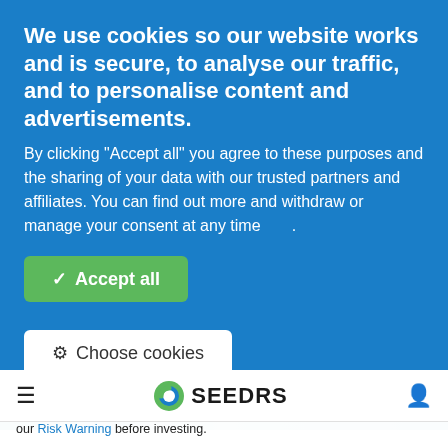We use cookies so our website works and is secure, to analyse our traffic, and to personalise content and advertisements.
By clicking "Accept all" you agree to these purposes and the sharing of your data with our trusted partners and affiliates. You can find out more and withdraw or manage your consent at any time .
✓ Accept all
⚙ Choose cookies
[Figure (logo): Seedrs logo with green circular icon and bold SEEDRS text]
Investing carries risks, including loss of capital and illiquidity. Please read our Risk Warning before investing.